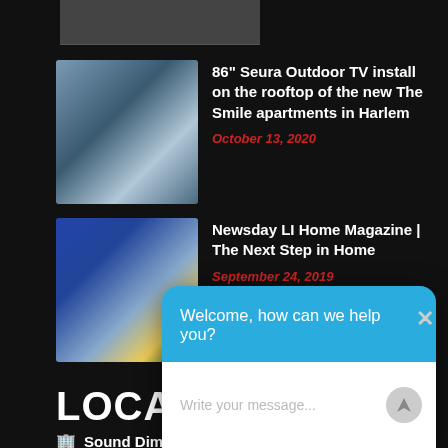[Figure (photo): Partial view of an article thumbnail image at top of page]
[Figure (photo): Rooftop photo showing a TV installation on a building rooftop in an urban setting]
86" Seura Outdoor TV install on the rooftop of the new The Smile apartments in Harlem
October 13, 2020
[Figure (photo): Photo of a Newsday LI Home magazine cover]
Newsday LI Home Magazine | The Next Step in Home
September 24, 2019
LOCATIONS
Sound Dimensions
14... Sy...
(5...
(5...
info@sounddim.com
Welcome, how can we help you?
Write your message...